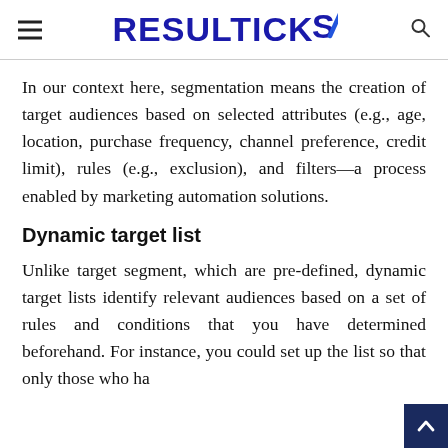RESULTICKS
In our context here, segmentation means the creation of target audiences based on selected attributes (e.g., age, location, purchase frequency, channel preference, credit limit), rules (e.g., exclusion), and filters—a process enabled by marketing automation solutions.
Dynamic target list
Unlike target segment, which are pre-defined, dynamic target lists identify relevant audiences based on a set of rules and conditions that you have determined beforehand. For instance, you could set up the list so that only those who ha…